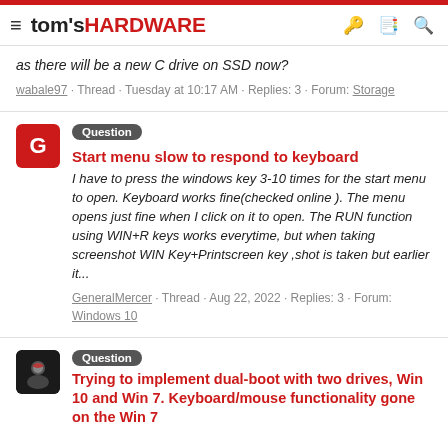tom's HARDWARE
as there will be a new C drive on SSD now?
wabale97 · Thread · Tuesday at 10:17 AM · Replies: 3 · Forum: Storage
Question — Start menu slow to respond to keyboard
I have to press the windows key 3-10 times for the start menu to open. Keyboard works fine(checked online ). The menu opens just fine when I click on it to open. The RUN function using WIN+R keys works everytime, but when taking screenshot WIN Key+Printscreen key ,shot is taken but earlier it...
GeneralMercer · Thread · Aug 22, 2022 · Replies: 3 · Forum: Windows 10
Question — Trying to implement dual-boot with two drives, Win 10 and Win 7. Keyboard/mouse functionality gone on the Win 7